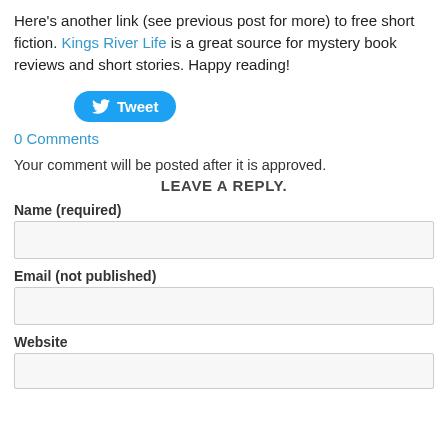Here's another link (see previous post for more) to free short fiction. Kings River Life is a great source for mystery book reviews and short stories. Happy reading!
[Figure (other): Tweet button with Twitter bird icon]
0 Comments
Your comment will be posted after it is approved.
LEAVE A REPLY.
Name (required)
Email (not published)
Website